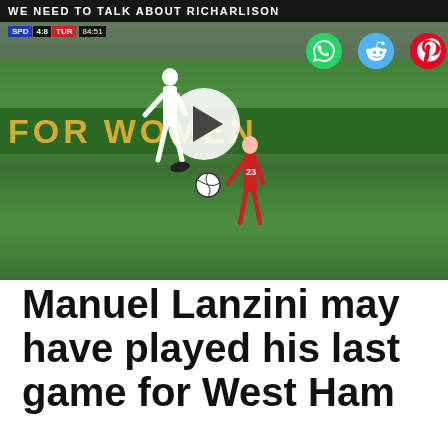[Figure (screenshot): Video thumbnail of a soccer match with a player kicking a ball. A dark overlay banner at top reads 'WE NEED TO TALK ABOUT RICHARLISON'. A green pitch and crowd are visible, with a 'FORE WOMEN' advertisement banner. A white play button circle is centered in the image. Scoreboard shows SPD vs TUR.]
[Figure (logo): Three social media icons: WhatsApp (phone handset in teal circle), Reddit (alien mascot in blue circle), Pinterest (P logo in red circle)]
Manuel Lanzini may have played his last game for West Ham
Firstly, I want to make myself very clear. In no way do I want Lanzini sold. I think he's a very good player and makes a huge difference to this Hammers team.
We believe that he might just be on his way this summer.